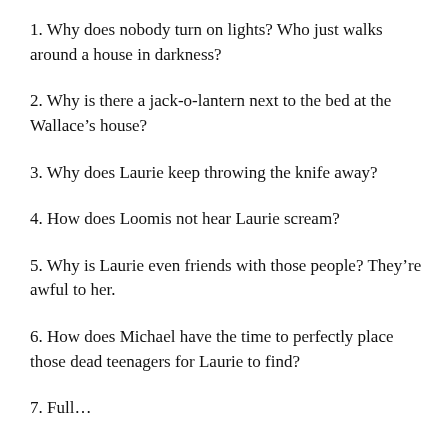1. Why does nobody turn on lights? Who just walks around a house in darkness?
2. Why is there a jack-o-lantern next to the bed at the Wallace’s house?
3. Why does Laurie keep throwing the knife away?
4. How does Loomis not hear Laurie scream?
5. Why is Laurie even friends with those people? They’re awful to her.
6. How does Michael have the time to perfectly place those dead teenagers for Laurie to find?
7. Full…